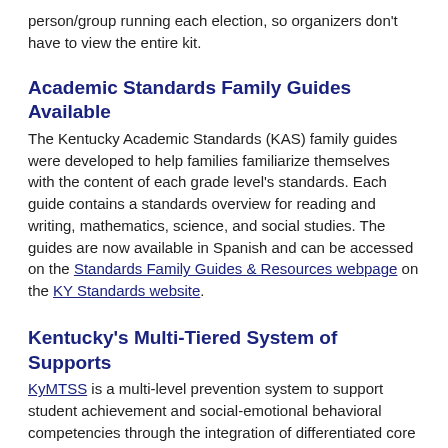person/group running each election, so organizers don't have to view the entire kit.
Academic Standards Family Guides Available
The Kentucky Academic Standards (KAS) family guides were developed to help families familiarize themselves with the content of each grade level's standards. Each guide contains a standards overview for reading and writing, mathematics, science, and social studies. The guides are now available in Spanish and can be accessed on the Standards Family Guides & Resources webpage on the KY Standards website.
Kentucky's Multi-Tiered System of Supports
KyMTSS is a multi-level prevention system to support student achievement and social-emotional behavioral competencies through the integration of differentiated core instruction, assessment, and intervention.